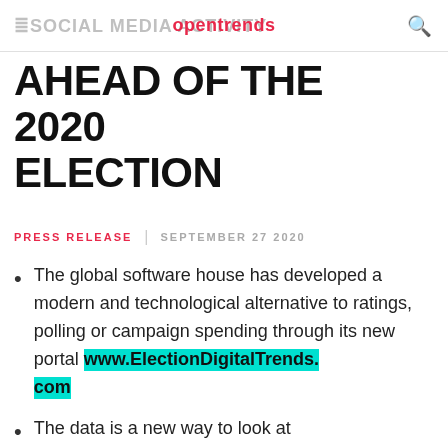SOCIAL MEDIA ACTIVITY opentrends
AHEAD OF THE 2020 ELECTION
PRESS RELEASE | SEPTEMBER 27 2020
The global software house has developed a modern and technological alternative to ratings, polling or campaign spending through its new portal www.ElectionDigitalTrends.com
The data is a new way to look at